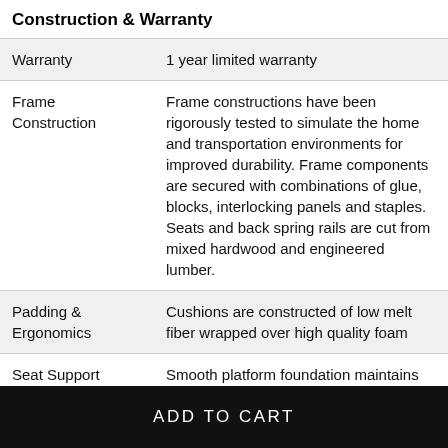Construction & Warranty
| Warranty | 1 year limited warranty |
| Frame Construction | Frame constructions have been rigorously tested to simulate the home and transportation environments for improved durability. Frame components are secured with combinations of glue, blocks, interlocking panels and staples. Seats and back spring rails are cut from mixed hardwood and engineered lumber. |
| Padding & Ergonomics | Cushions are constructed of low melt fiber wrapped over high quality foam |
| Seat Support | Smooth platform foundation maintains tight, wrinkle-free look without dips or sags that can occur over time with sinuous spring |
ADD TO CART